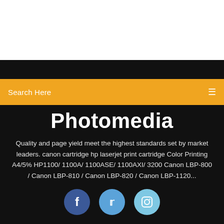[Figure (screenshot): White top area of a webpage]
Search Here
Photomedia
Quality and page yield meet the highest standards set by market leaders. canon cartridge hp laserjet print cartridge Color Printing A4/5% HP1100/ 1100A/ 1100ASE/ 1100AXI/ 3200 Canon LBP-800 / Canon LBP-810 / Canon LBP-820 / Canon LBP-1120...
[Figure (illustration): Social media icons: Facebook, Twitter, Instagram circles]